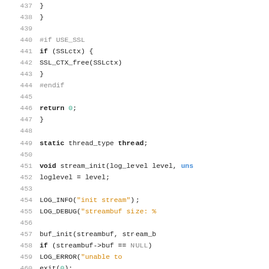[Figure (screenshot): Source code listing showing C code lines 437-466, with syntax highlighting. Keywords in bold, strings in orange, preprocessor directives in gray, numbers/null in teal/gray.]